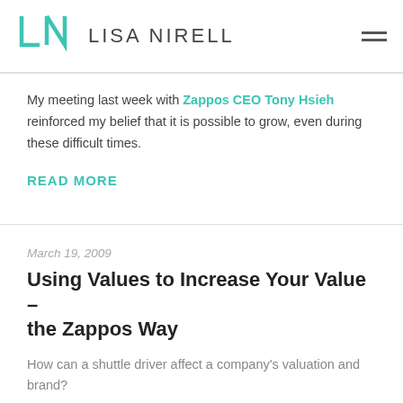LISA NIRELL
My meeting last week with Zappos CEO Tony Hsieh reinforced my belief that it is possible to grow, even during these difficult times.
READ MORE
March 19, 2009
Using Values to Increase Your Value – the Zappos Way
How can a shuttle driver affect a company's valuation and brand?